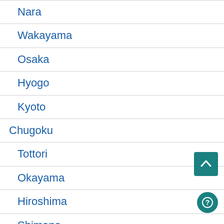Nara
Wakayama
Osaka
Hyogo
Kyoto
Chugoku
Tottori
Okayama
Hiroshima
Shimane
Yamaguchi
Shikoku
Kagawa